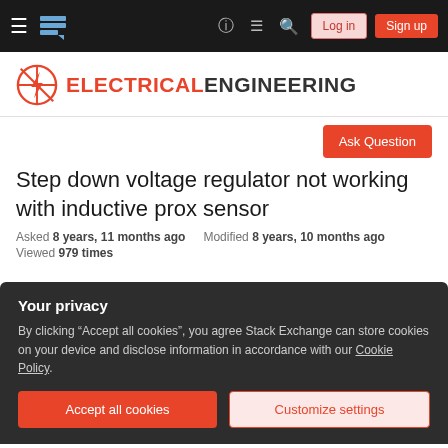Stack Exchange Electrical Engineering — navigation bar with Log in and Sign up buttons
[Figure (logo): Electrical Engineering Stack Exchange logo: red circle with lightning bolt and 'ELECTRICAL ENGINEERING' text]
Ask Question
Step down voltage regulator not working with inductive prox sensor
Asked 8 years, 11 months ago   Modified 8 years, 10 months ago
Viewed 979 times
Your privacy
By clicking "Accept all cookies", you agree Stack Exchange can store cookies on your device and disclose information in accordance with our Cookie Policy.
Accept all cookies   Customize settings
both NPN and PNP style sensors and have tried